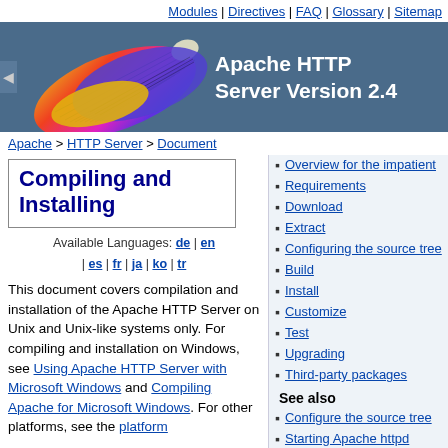Modules | Directives | FAQ | Glossary | Sitemap
[Figure (logo): Apache HTTP Server Version 2.4 header banner with feather logo]
Apache > HTTP Server > Document
Compiling and Installing
Available Languages: de | en | es | fr | ja | ko | tr
This document covers compilation and installation of the Apache HTTP Server on Unix and Unix-like systems only. For compiling and installation on Windows, see Using Apache HTTP Server with Microsoft Windows and Compiling Apache for Microsoft Windows. For other platforms, see the platform
Overview for the impatient
Requirements
Download
Extract
Configuring the source tree
Build
Install
Customize
Test
Upgrading
Third-party packages
See also
Configure the source tree
Starting Apache httpd